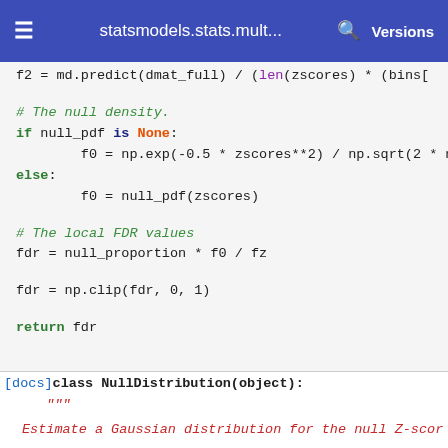statsmodels.stats.mult... Versions
[Figure (screenshot): Python source code snippet from statsmodels documentation showing local FDR computation and NullDistribution class definition]
[docs]class NullDistribution(object):
    """
    Estimate a Gaussian distribution for the null Z-scor
    The observed Z-scores consist of both null and no...